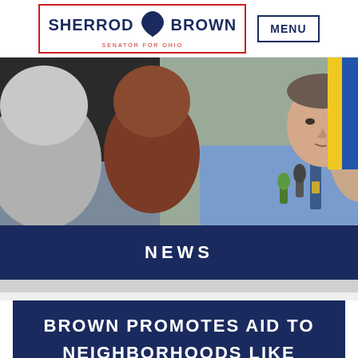SHERROD BROWN - SENATOR FOR OHIO | MENU
[Figure (photo): Sherrod Brown speaking at an outdoor press event, with microphones in front of him and people gathered around. He is wearing a light blue shirt and striped tie.]
NEWS
BROWN PROMOTES AID TO NEIGHBORHOODS LIKE IDORA